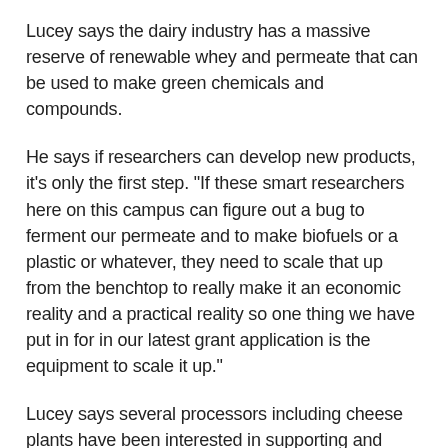Lucey says the dairy industry has a massive reserve of renewable whey and permeate that can be used to make green chemicals and compounds.
He says if researchers can develop new products, it's only the first step. "If these smart researchers here on this campus can figure out a bug to ferment our permeate and to make biofuels or a plastic or whatever, they need to scale that up from the benchtop to really make it an economic reality and a practical reality so one thing we have put in for in our latest grant application is the equipment to scale it up."
Lucey says several processors including cheese plants have been interested in supporting and using this research. cheese plants have been interested in supporting and using this research.